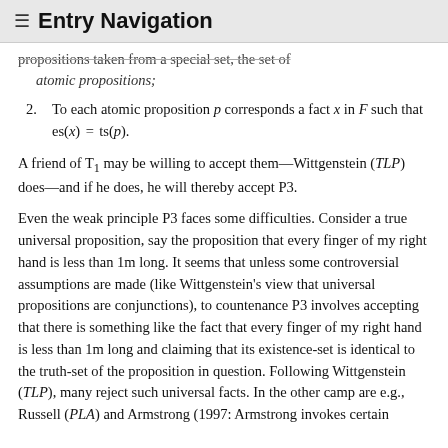≡ Entry Navigation
propositions taken from a special set, the set of atomic propositions;
2. To each atomic proposition p corresponds a fact x in F such that es(x) = ts(p).
A friend of T₁ may be willing to accept them—Wittgenstein (TLP) does—and if he does, he will thereby accept P3.
Even the weak principle P3 faces some difficulties. Consider a true universal proposition, say the proposition that every finger of my right hand is less than 1m long. It seems that unless some controversial assumptions are made (like Wittgenstein's view that universal propositions are conjunctions), to countenance P3 involves accepting that there is something like the fact that every finger of my right hand is less than 1m long and claiming that its existence-set is identical to the truth-set of the proposition in question. Following Wittgenstein (TLP), many reject such universal facts. In the other camp are e.g., Russell (PLA) and Armstrong (1997: Armstrong invokes certain